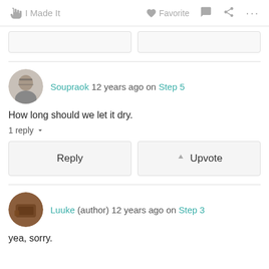I Made It  Favorite
Soupraok 12 years ago on Step 5
How long should we let it dry.
1 reply
Reply  Upvote
Luuke (author) 12 years ago on Step 3
yea, sorry.